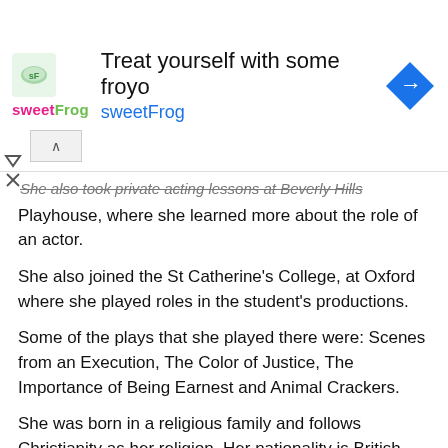[Figure (other): Advertisement banner for sweetFrog frozen yogurt. Contains sweetFrog logo, text 'Treat yourself with some froyo' and 'sweetFrog', navigation arrow icon, and collapse/close controls.]
She also took private acting lessons at Beverly Hills Playhouse, where she learned more about the role of an actor.
She also joined the St Catherine's College, at Oxford where she played roles in the student's productions.
Some of the plays that she played there were: Scenes from an Execution, The Color of Justice, The Importance of Being Earnest and Animal Crackers.
She was born in a religious family and follows Christianity as her religion. Her nationality is British, and she belongs to white ethnicity.
Alice is not a very tall woman and has an average height. She is only a 166 cm tall, which is about 5 feet and 5 inches, give or take.